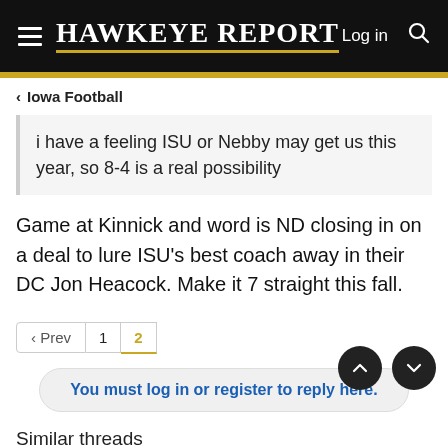Hawkeye Report  Log in
Iowa Football
i have a feeling ISU or Nebby may get us this year, so 8-4 is a real possibility
Game at Kinnick and word is ND closing in on a deal to lure ISU's best coach away in their DC Jon Heacock. Make it 7 straight this fall.
Prev  1  2
You must log in or register to reply here.
Similar threads